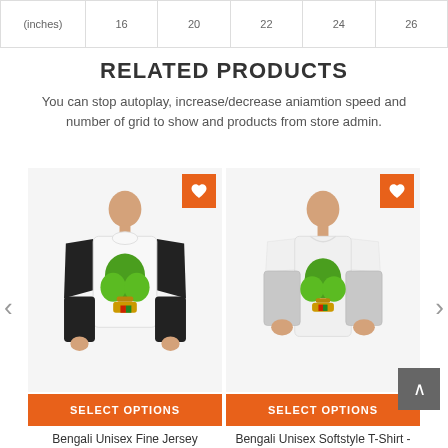| (inches) | 16 | 20 | 22 | 24 | 26 |
| --- | --- | --- | --- | --- | --- |
RELATED PRODUCTS
You can stop autoplay, increase/decrease aniamtion speed and number of grid to show and products from store admin.
[Figure (photo): Bengali Unisex Fine Jersey baseball shirt with green tree graphic design, with orange heart wishlist button and SELECT OPTIONS button]
[Figure (photo): Bengali Unisex Softstyle T-Shirt with green tree graphic design, with orange heart wishlist button and SELECT OPTIONS button]
Bengali Unisex Fine Jersey
Bengali Unisex Softstyle T-Shirt -